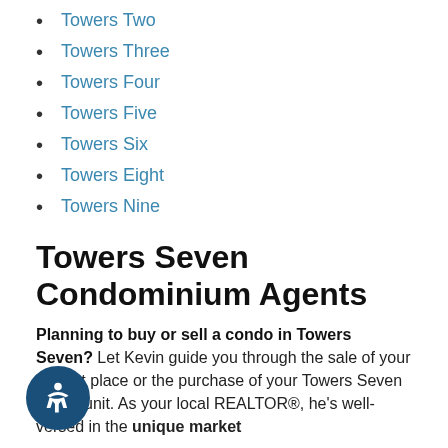Towers Two
Towers Three
Towers Four
Towers Five
Towers Six
Towers Eight
Towers Nine
Towers Seven Condominium Agents
Planning to buy or sell a condo in Towers Seven? Let Kevin guide you through the sale of your current place or the purchase of your Towers Seven condo unit. As your local REALTOR®, he's well-versed in the unique market